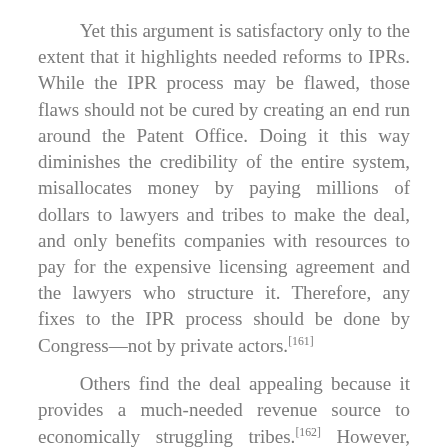Yet this argument is satisfactory only to the extent that it highlights needed reforms to IPRs. While the IPR process may be flawed, those flaws should not be cured by creating an end run around the Patent Office. Doing it this way diminishes the credibility of the entire system, misallocates money by paying millions of dollars to lawyers and tribes to make the deal, and only benefits companies with resources to pay for the expensive licensing agreement and the lawyers who structure it. Therefore, any fixes to the IPR process should be done by Congress—not by private actors.[161]
Others find the deal appealing because it provides a much-needed revenue source to economically struggling tribes.[162] However, while it does enhance tribal economic